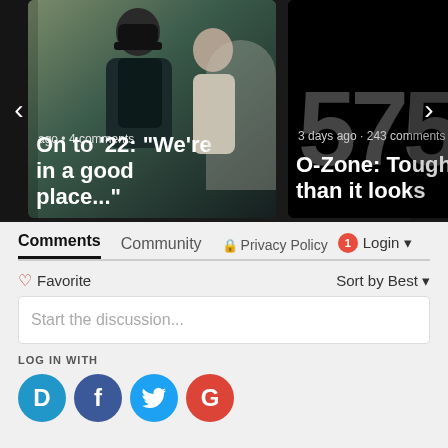[Figure (screenshot): Carousel with two article cards. Left card shows two people (coaches) with text 'ago • 4 comments' and title 'On to '22: "We're in a good place..."'. Right card shows large number graphic with text '3 days ago • 243 comments' and title 'O-Zone: Tougher than it looks'. Navigation arrows on left and right sides.]
Comments   Community   🔒 Privacy Policy   1   Login
♡ Favorite   Sort by Best
Start the discussion...
LOG IN WITH
[Figure (logo): Four social login buttons: Disqus (D), Facebook (f), Twitter bird, Google (G)]